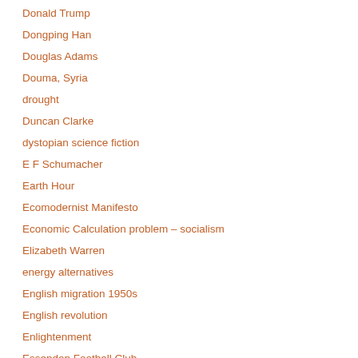Donald Trump
Dongping Han
Douglas Adams
Douma, Syria
drought
Duncan Clarke
dystopian science fiction
E F Schumacher
Earth Hour
Ecomodernist Manifesto
Economic Calculation problem – socialism
Elizabeth Warren
energy alternatives
English migration 1950s
English revolution
Enlightenment
Essendon Football Club